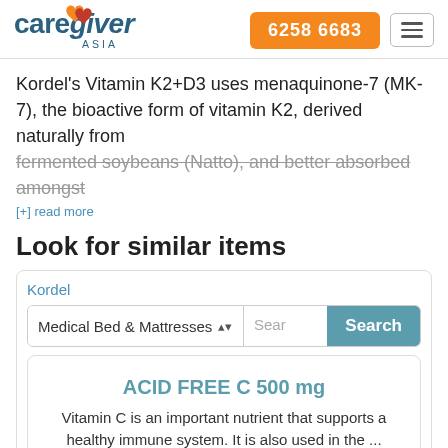caregiver ASIA | 6258 6683
Kordel's Vitamin K2+D3 uses menaquinone-7 (MK-7), the bioactive form of vitamin K2, derived naturally from fermented soybeans (Natto), and better absorbed amongst
[+] read more
Look for similar items
Kordel
Medical Bed & Mattresses | Search | Search
ACID FREE C 500 mg
Vitamin C is an important nutrient that supports a healthy immune system. It is also used in the ...